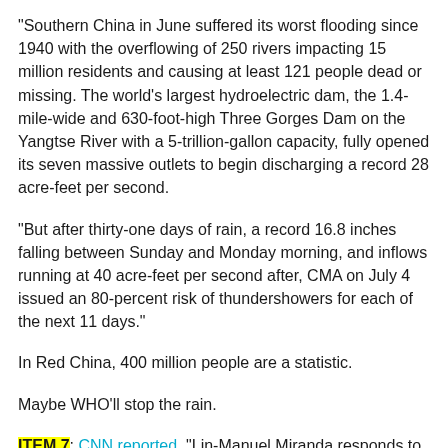"Southern China in June suffered its worst flooding since 1940 with the overflowing of 250 rivers impacting 15 million residents and causing at least 121 people dead or missing. The world's largest hydroelectric dam, the 1.4-mile-wide and 630-foot-high Three Gorges Dam on the Yangtse River with a 5-trillion-gallon capacity, fully opened its seven massive outlets to begin discharging a record 28 acre-feet per second.
"But after thirty-one days of rain, a record 16.8 inches falling between Sunday and Monday morning, and inflows running at 40 acre-feet per second after, CMA on July 4 issued an 80-percent risk of thundershowers for each of the next 11 days."
In Red China, 400 million people are a statistic.
Maybe WHO'll stop the rain.
ITEM 7: CNN reported, "Lin-Manuel Miranda responds to 'Hamilton' slavery criticism."